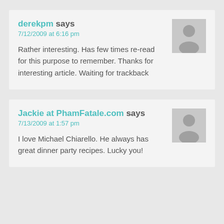derekpm says
7/12/2009 at 6:16 pm
Rather interesting. Has few times re-read for this purpose to remember. Thanks for interesting article. Waiting for trackback
Jackie at PhamFatale.com says
7/13/2009 at 1:57 pm
I love Michael Chiarello. He always has great dinner party recipes. Lucky you!